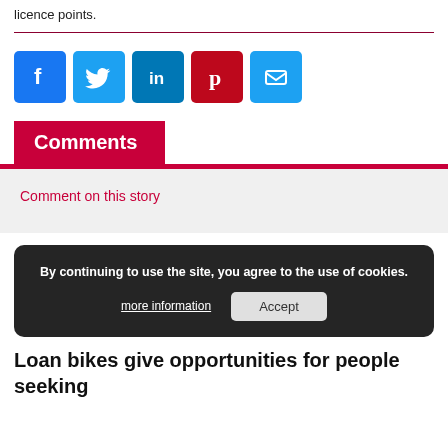licence points.
[Figure (infographic): Row of social media share buttons: Facebook (blue), Twitter (light blue), LinkedIn (blue), Pinterest (red), Email (light blue)]
Comments
Comment on this story
[Figure (screenshot): Cookie consent overlay: 'By continuing to use the site, you agree to the use of cookies.' with 'more information' link and 'Accept' button]
Loan bikes give opportunities for people seeking